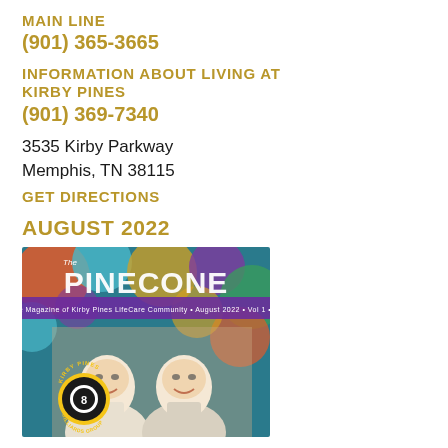MAIN LINE
(901) 365-3665
INFORMATION ABOUT LIVING AT KIRBY PINES
(901) 369-7340
3535 Kirby Parkway
Memphis, TN 38115
GET DIRECTIONS
AUGUST 2022
[Figure (photo): Cover of The Pinecone magazine, the magazine of Kirby Pines LifeCare Community, August 2022. Shows two elderly men smiling, with a billiards/pool ball (number 8) logo for Kirby Pines Billiards Group in the foreground, and colorful circular artwork in the background. The title 'PINECONE' appears at the top in large white letters.]